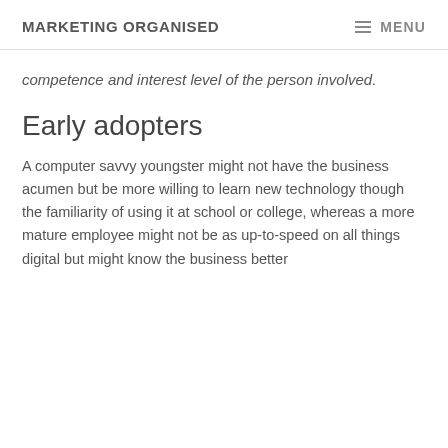MARKETING ORGANISED   MENU
competence and interest level of the person involved.
Early adopters
A computer savvy youngster might not have the business acumen but be more willing to learn new technology though the familiarity of using it at school or college, whereas a more mature employee might not be as up-to-speed on all things digital but might know the business better